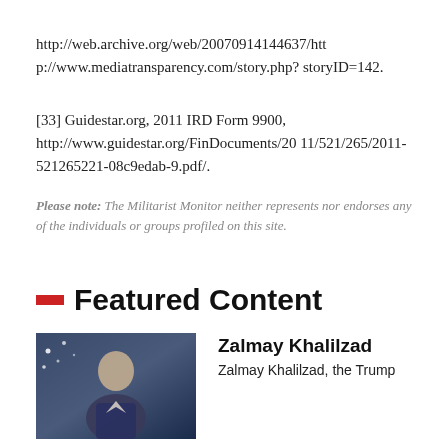http://web.archive.org/web/20070914144637/http://www.mediatransparency.com/story.php?storyID=142.
[33] Guidestar.org, 2011 IRD Form 9900, http://www.guidestar.org/FinDocuments/2011/521/265/2011-521265221-08c9edab-9.pdf/.
Please note: The Militarist Monitor neither represents nor endorses any of the individuals or groups profiled on this site.
Featured Content
Zalmay Khalilzad
Zalmay Khalilzad, the Trump